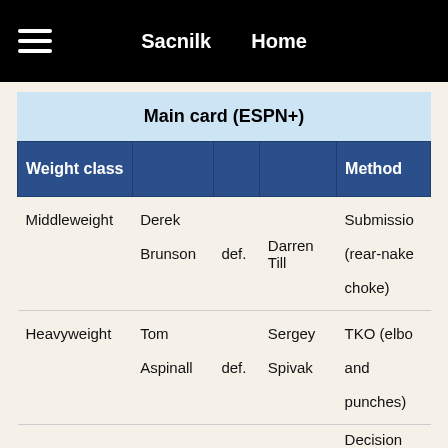Sacnilk   Home
Main card (ESPN+)
| Weight class |  | def. |  | Method |
| --- | --- | --- | --- | --- |
| Middleweight | Derek Brunson | def. | Darren Till | Submission (rear-naked choke) |
| Heavyweight | Tom Aspinall | def. | Sergey Spivak | TKO (elbows and punches) |
|  |  |  |  | Decision |